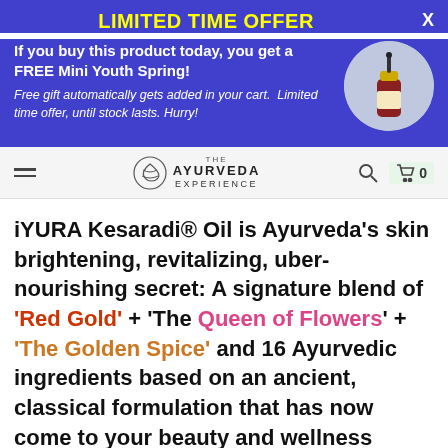LIMITED TIME OFFER
If you buy this product today, you get a FREE Mini Youth Spring!
Free gift automatically gets added in your cart.  Limited time offer, until stock lasts.  Hurry!
[Figure (photo): A small dropper bottle with gold cap on a circular grey background]
THE AYURVEDA EXPERIENCE
iYURA Kesaradi® Oil is Ayurveda's skin brightening, revitalizing, uber-nourishing secret: A signature blend of 'Red Gold' + 'The Queen of Flowers' + 'The Golden Spice' and 16 Ayurvedic ingredients based on an ancient, classical formulation that has now come to your beauty and wellness closet, today in 2021!